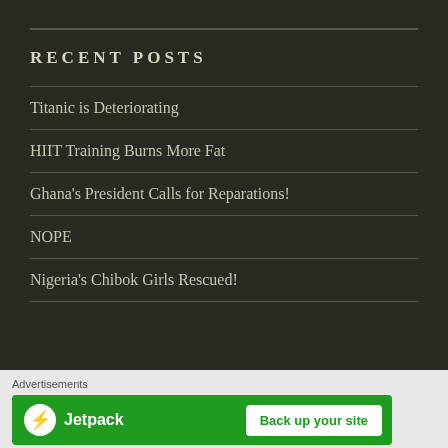RECENT POSTS
Titanic is Deteriorating
HIIT Training Burns More Fat
Ghana's President Calls for Reparations!
NOPE
Nigeria's Chibok Girls Rescued!
Advertisements
[Figure (logo): Jetpack advertisement banner with logo and 'Back up your site' button on green background]